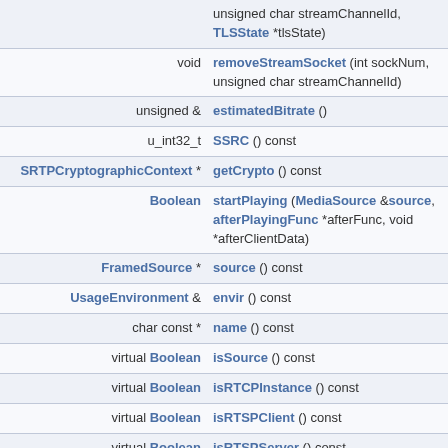| Type | Member |
| --- | --- |
|  | unsigned char streamChannelId, TLSState *tlsState) |
| void | removeStreamSocket (int sockNum, unsigned char streamChannelId) |
| unsigned & | estimatedBitrate () |
| u_int32_t | SSRC () const |
| SRTPCryptographicContext * | getCrypto () const |
| Boolean | startPlaying (MediaSource &source, afterPlayingFunc *afterFunc, void *afterClientData) |
| FramedSource * | source () const |
| UsageEnvironment & | envir () const |
| char const * | name () const |
| virtual Boolean | isSource () const |
| virtual Boolean | isRTCPInstance () const |
| virtual Boolean | isRTSPClient () const |
| virtual Boolean | isRTSPServer () const |
| virtual Boolean | isMediaSession () const |